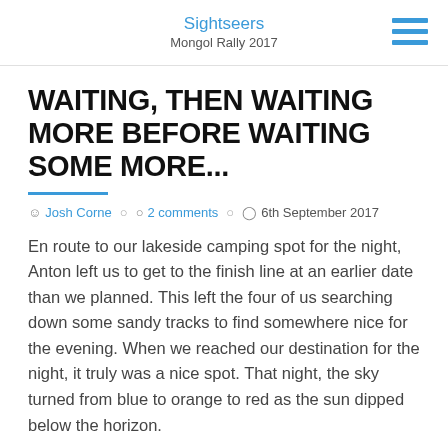Sightseers
Mongol Rally 2017
WAITING, THEN WAITING MORE BEFORE WAITING SOME MORE...
Josh Corne  2 comments  6th September 2017
En route to our lakeside camping spot for the night, Anton left us to get to the finish line at an earlier date than we planned. This left the four of us searching down some sandy tracks to find somewhere nice for the evening. When we reached our destination for the night, it truly was a nice spot. That night, the sky turned from blue to orange to red as the sun dipped below the horizon.